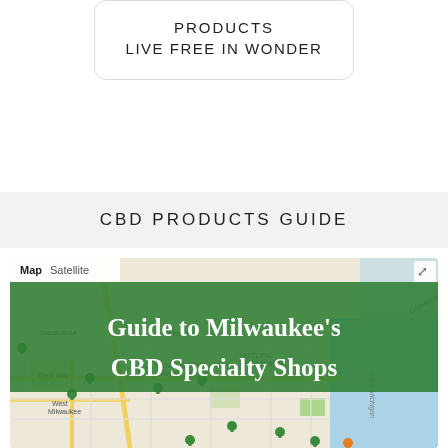PRODUCTS
LIVE FREE IN WONDER
CBD PRODUCTS GUIDE
[Figure (map): Google Map showing Milwaukee area with green location pins marking CBD specialty shops. Map/Satellite toggle visible at top left. An overlaid green banner reads 'Guide to Milwaukee's CBD Specialty Shops'. Map shows Milwaukee city area including West Allis, West Milwaukee, Wauwatosa, Historic Third Ward, Menomonee River Valley neighborhoods, with several green location markers scattered across the map.]